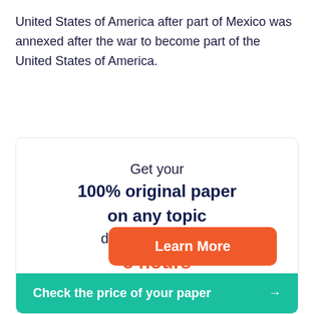United States of America after part of Mexico was annexed after the war to become part of the United States of America.
[Figure (infographic): Promotional card with text: Get your 100% original paper on any topic done in as little as 3 hours. Contains a Learn More button and a Check the price of your paper button.]